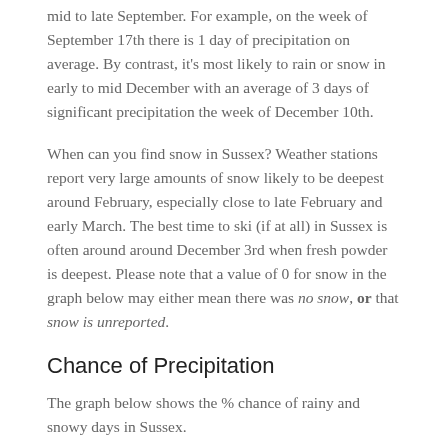mid to late September. For example, on the week of September 17th there is 1 day of precipitation on average. By contrast, it's most likely to rain or snow in early to mid December with an average of 3 days of significant precipitation the week of December 10th.
When can you find snow in Sussex? Weather stations report very large amounts of snow likely to be deepest around February, especially close to late February and early March. The best time to ski (if at all) in Sussex is often around around December 3rd when fresh powder is deepest. Please note that a value of 0 for snow in the graph below may either mean there was no snow, or that snow is unreported.
Chance of Precipitation
The graph below shows the % chance of rainy and snowy days in Sussex.